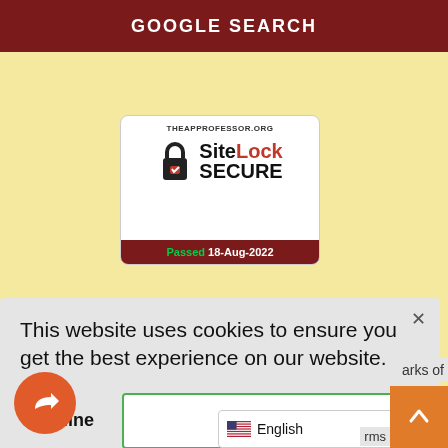GOOGLE SEARCH
[Figure (logo): SiteLock Secure badge for theapprofessor.org, showing a padlock icon with checkmark, 'Site Lock SECURE' text, and 'Passed 18-Aug-2022' footer]
Subscribe to Kevin's Newsletters
This website uses cookies to ensure you get the best experience on our website.
Decline
Accept
arks of
English
rms